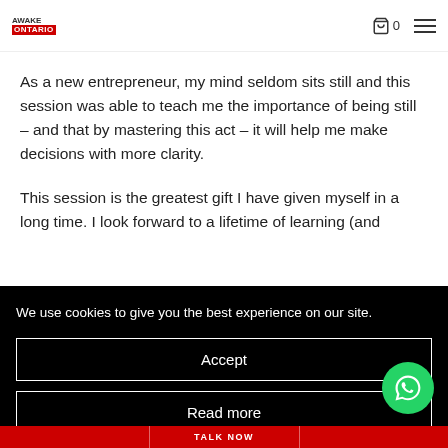AWAKE ONTARIO — navigation header with cart (0) and hamburger menu
As a new entrepreneur, my mind seldom sits still and this session was able to teach me the importance of being still – and that by mastering this act – it will help me make decisions with more clarity.
This session is the greatest gift I have given myself in a long time. I look forward to a lifetime of learning (and
We use cookies to give you the best experience on our site.
Accept
Read more
TALK NOW